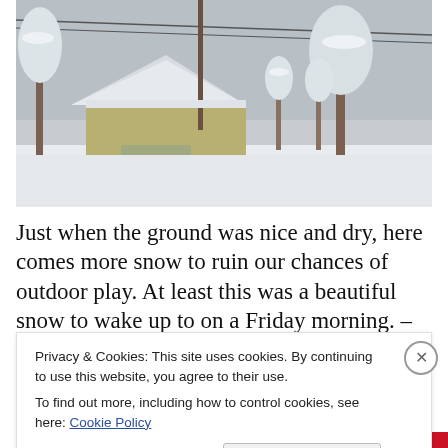[Figure (photo): Winter snow scene showing a garage or small outbuilding covered in snow, with snow-covered trees and power lines in the background. A driveway covered in snow is visible.]
Just when the ground was nice and dry, here comes more snow to ruin our chances of outdoor play. At least this was a beautiful snow to wake up to on a Friday morning. –
Privacy & Cookies: This site uses cookies. By continuing to use this website, you agree to their use.
To find out more, including how to control cookies, see here: Cookie Policy